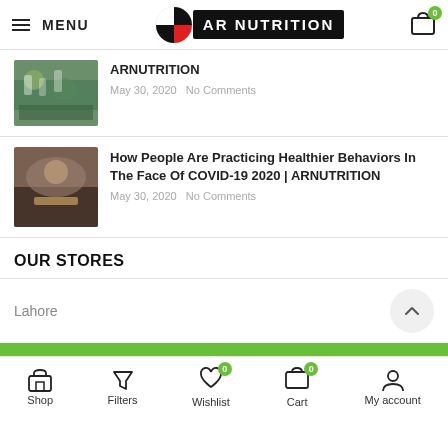MENU | AR NUTRITION | Cart 0
ARNUTRITION
May 30, 2020  No Comments
How People Are Practicing Healthier Behaviors In The Face Of COVID-19 2020 | ARNUTRITION
May 30, 2020  No Comments
OUR STORES
Lahore
Shop  Filters  Wishlist 0  Cart 0  My account